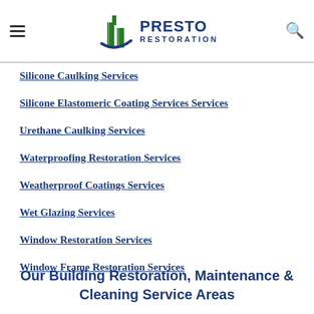Presto Restoration
Silicone Caulking Services
Silicone Elastomeric Coating Services Services
Urethane Caulking Services
Waterproofing Restoration Services
Weatherproof Coatings Services
Wet Glazing Services
Window Restoration Services
Window Frame Restoration Services
Our Building Restoration, Maintenance & Cleaning Service Areas